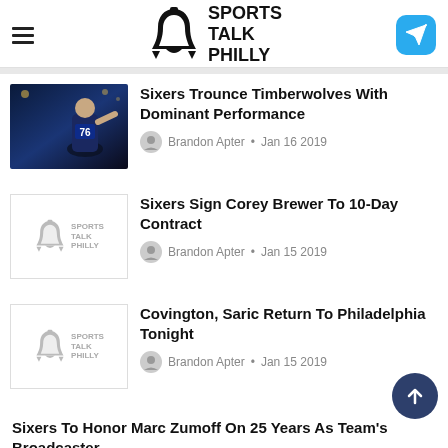Sports Talk Philly
Sixers Trounce Timberwolves With Dominant Performance
Brandon Apter • Jan 16 2019
Sixers Sign Corey Brewer To 10-Day Contract
Brandon Apter • Jan 15 2019
Covington, Saric Return To Philadelphia Tonight
Brandon Apter • Jan 15 2019
Sixers To Honor Marc Zumoff On 25 Years As Team's Broadcaster
Brandon Apter • Jan 14 2019